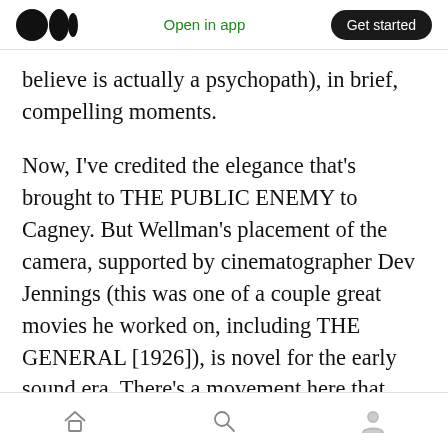Open in app | Get started
believe is actually a psychopath), in brief, compelling moments.
Now, I've credited the elegance that's brought to THE PUBLIC ENEMY to Cagney. But Wellman's placement of the camera, supported by cinematographer Dev Jennings (this was one of a couple great movies he worked on, including THE GENERAL [1926]), is novel for the early sound era. There's a movement here that calls to mind the mobility of the silent era that had ended just a couple of years before, which had given
Home | Search | Profile